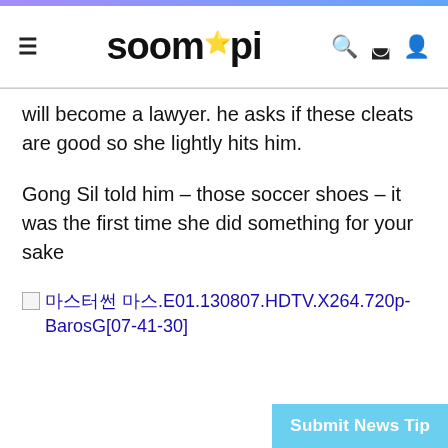soompi
will become a lawyer. he asks if these cleats are good so she lightly hits him.
Gong Sil told him – those soccer shoes – it was the first time she did something for your sake
[Figure (photo): Broken image placeholder with alt text referencing file: 마스터썬 E01.130807.HDTV.X264.720p-BarosG[07-41-30]]